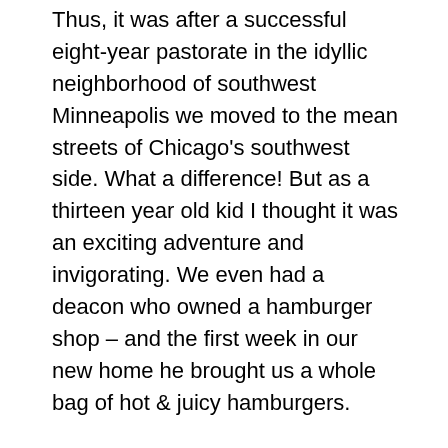Thus, it was after a successful eight-year pastorate in the idyllic neighborhood of southwest Minneapolis we moved to the mean streets of Chicago's southwest side. What a difference! But as a thirteen year old kid I thought it was an exciting adventure and invigorating. We even had a deacon who owned a hamburger shop – and the first week in our new home he brought us a whole bag of hot & juicy hamburgers.
But that was not the end of the drama. After one year in Chicago, Dr. Clearwaters and the leadership of the Minnesota Baptist Convention were pressuring my dad to return to Minnesota and assume the position of Executive Secretary for the state convention. Here is where I first heard of a